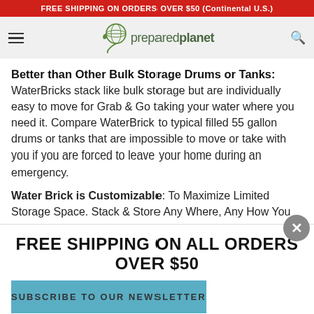FREE SHIPPING ON ORDERS OVER $50 (Continental U.S.)
[Figure (logo): PreparedPlanet logo with globe icon and text 'preparedplanet']
Better than Other Bulk Storage Drums or Tanks:
WaterBricks stack like bulk storage but are individually easy to move for Grab & Go taking your water where you need it. Compare WaterBrick to typical filled 55 gallon drums or tanks that are impossible to move or take with you if you are forced to leave your home during an emergency.
Water Brick is Customizable: To Maximize Limited Storage Space. Stack & Store Any Where, Any How You
FREE SHIPPING ON ALL ORDERS OVER $50
SUBSCRIBE TO OUR NEWSLETTER